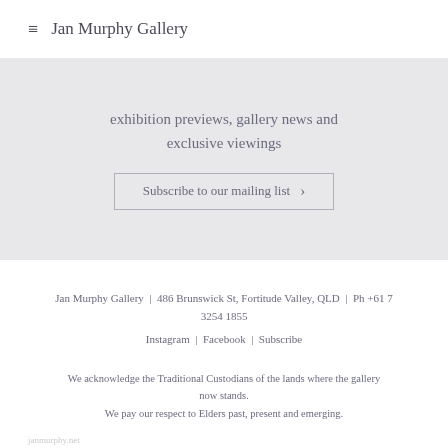≡  Jan Murphy Gallery
exhibition previews, gallery news and exclusive viewings
Subscribe to our mailing list  >
Jan Murphy Gallery  |  486 Brunswick St, Fortitude Valley, QLD  |  Ph +61 7 3254 1855
Instagram  |  Facebook  |  Subscribe
We acknowledge the Traditional Custodians of the lands where the gallery now stands.
We pay our respect to Elders past, present and emerging.